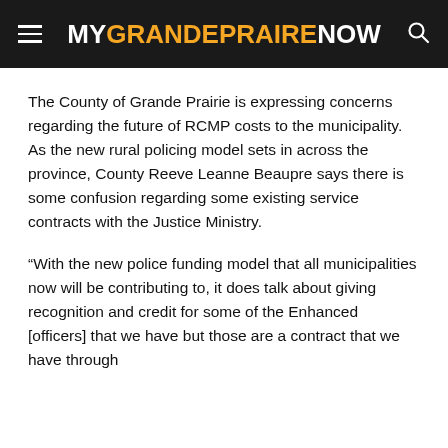MYGRANDEPRAIRIENOW
The County of Grande Prairie is expressing concerns regarding the future of RCMP costs to the municipality. As the new rural policing model sets in across the province, County Reeve Leanne Beaupre says there is some confusion regarding some existing service contracts with the Justice Ministry.
“With the new police funding model that all municipalities now will be contributing to, it does talk about giving recognition and credit for some of the Enhanced [officers] that we have but those are a contract that we have through